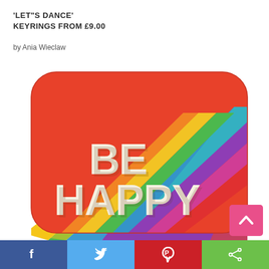'LET"S DANCE'
KEYRINGS FROM £9.00
by Ania Wieclaw
[Figure (photo): A red cushion/pillow with 'BE HAPPY' text in white bubble letters, with a rainbow diagonal stripe design across the lower portion of the pillow.]
f  [twitter bird]  [pinterest P]  [share icon]